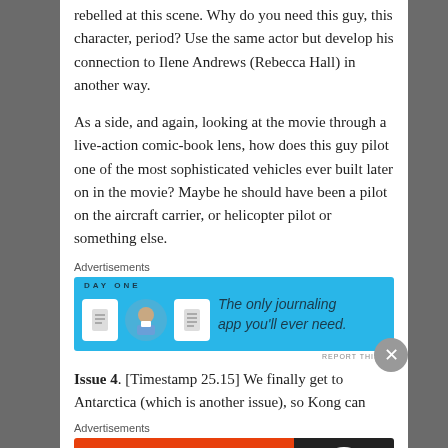rebelled at this scene. Why do you need this guy, this character, period? Use the same actor but develop his connection to Ilene Andrews (Rebecca Hall) in another way.
As a side, and again, looking at the movie through a live-action comic-book lens, how does this guy pilot one of the most sophisticated vehicles ever built later on in the movie? Maybe he should have been a pilot on the aircraft carrier, or helicopter pilot or something else.
Advertisements
[Figure (infographic): DayOne journaling app advertisement - blue background with icons and text 'The only journaling app you'll ever need.']
REPORT THIS AD
Issue 4. [Timestamp 25.15] We finally get to Antarctica (which is another issue), so Kong can
Advertisements
[Figure (infographic): DuckDuckGo advertisement - orange left panel: 'Search, browse, and email with more privacy. All in One Free App', dark right panel with DuckDuckGo logo]